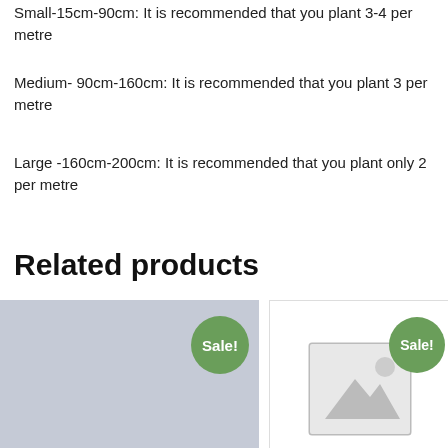Small-15cm-90cm: It is recommended that you plant 3-4 per metre
Medium- 90cm-160cm: It is recommended that you plant 3 per metre
Large -160cm-200cm: It is recommended that you plant only 2 per metre
Related products
[Figure (photo): Product image placeholder with Sale badge - left card, grey rectangle]
[Figure (photo): Product image placeholder with Sale badge - right card, showing image placeholder icon]